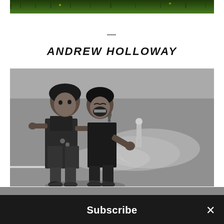[Figure (photo): Top portion of outdoor photo showing green grass/foliage background]
—
ANDREW HOLLOWAY
[Figure (photo): Black and white photograph of children playing on a wet pavement/street. Two children in foreground, one girl in overalls and one boy laughing, with water sprinklers visible and other children running in background.]
Subscribe